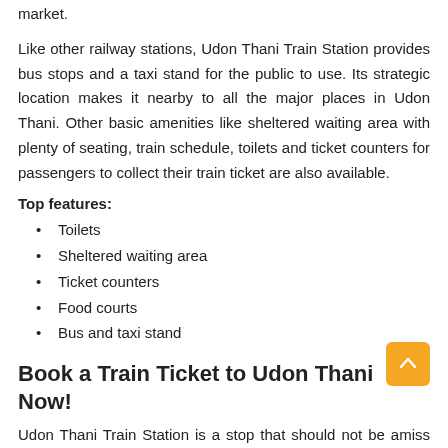market.
Like other railway stations, Udon Thani Train Station provides bus stops and a taxi stand for the public to use. Its strategic location makes it nearby to all the major places in Udon Thani. Other basic amenities like sheltered waiting area with plenty of seating, train schedule, toilets and ticket counters for passengers to collect their train ticket are also available.
Top features:
Toilets
Sheltered waiting area
Ticket counters
Food courts
Bus and taxi stand
Book a Train Ticket to Udon Thani Now!
Udon Thani Train Station is a stop that should not be amiss on your way to Bangkok when exploring Thailand by trains. The place is easy to get around and the locals are as friendly as they are helpful. Travellers can get their train tickets to Udon Thani through online